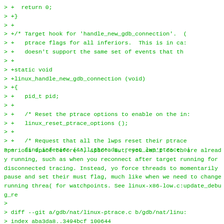> +  return 0;
> +}
> +
> +/* Target hook for 'handle_new_gdb_connection'.  (
> +   ptrace flags for all inferiors.  This is in ca:
> +   doesn't support the same set of events that th
> +
> +static void
> +linux_handle_new_gdb_connection (void)
> +{
> +   pid_t pid;
> +
> +   /* Reset the ptrace options to enable on the in:
> +   linux_reset_ptrace_options ();
> +
> +   /* Request that all the lwps reset their ptrace
> +   find_inferior (&all_threads, reset_lwp_ptrace_o|
Spurious space before ', &pid'.  But, you can't do th are already running, such as when you reconnect after target running for disconnected tracing.  Instead, yo force threads to momentarily pause and set their must flag, much like when we need to change running threa( for watchpoints.  See linux-x86-low.c:update_debug_re
>
> diff --git a/gdb/nat/linux-ptrace.c b/gdb/nat/linu:
> index aba3da8..3494bcf 100644
> --- a/gdb/nat/linux-ptrace.c
> +++ b/gdb/nat/linux-ptrace.c
> @@ -25,13 +25,16 @@
>